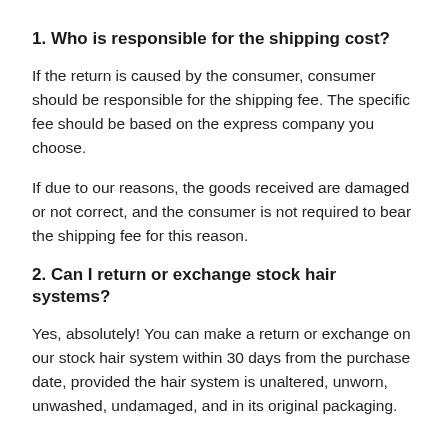1. Who is responsible for the shipping cost?
If the return is caused by the consumer, consumer should be responsible for the shipping fee. The specific fee should be based on the express company you choose.
If due to our reasons, the goods received are damaged or not correct, and the consumer is not required to bear the shipping fee for this reason.
2. Can I return or exchange stock hair systems?
Yes, absolutely! You can make a return or exchange on our stock hair system within 30 days from the purchase date, provided the hair system is unaltered, unworn, unwashed, undamaged, and in its original packaging.